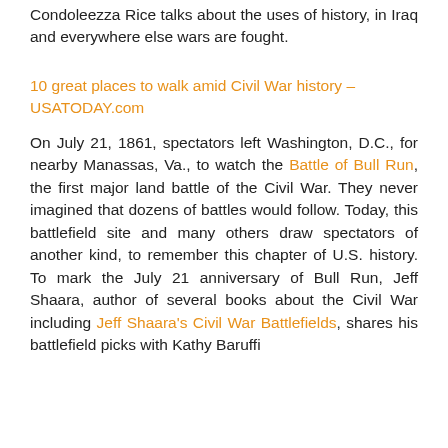Condoleezza Rice talks about the uses of history, in Iraq and everywhere else wars are fought.
10 great places to walk amid Civil War history – USATODAY.com
On July 21, 1861, spectators left Washington, D.C., for nearby Manassas, Va., to watch the Battle of Bull Run, the first major land battle of the Civil War. They never imagined that dozens of battles would follow. Today, this battlefield site and many others draw spectators of another kind, to remember this chapter of U.S. history. To mark the July 21 anniversary of Bull Run, Jeff Shaara, author of several books about the Civil War including Jeff Shaara's Civil War Battlefields, shares his battlefield picks with Kathy Baruffi